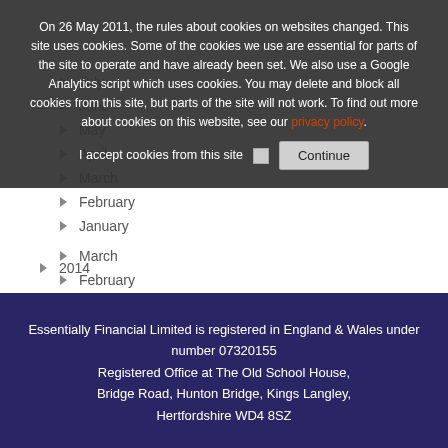On 26 May 2011, the rules about cookies on websites changed. This site uses cookies. Some of the cookies we use are essential for parts of the site to operate and have already been set. We also use a Google Analytics script which uses cookies. You may delete and block all cookies from this site, but parts of the site will not work. To find out more about cookies on this website, see our privacy policy.
I accept cookies from this site Continue
July
June
May
April
March
February
January
2014
Essentially Financial Limited is registered in England & Wales under number 07320155 Registered Office at The Old School House, Bridge Road, Hunton Bridge, Kings Langley, Hertfordshire WD4 8SZ